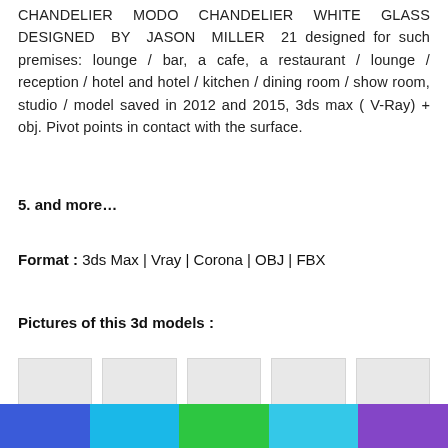CHANDELIER MODO CHANDELIER WHITE GLASS DESIGNED BY JASON MILLER 21 designed for such premises: lounge / bar, a cafe, a restaurant / lounge / reception / hotel and hotel / kitchen / dining room / show room, studio / model saved in 2012 and 2015, 3ds max ( V-Ray) + obj. Pivot points in contact with the surface.
5. and more…
Format : 3ds Max | Vray | Corona | OBJ | FBX
Pictures of this 3d models :
[Figure (photo): Row of 5 thumbnail placeholder images (light gray rectangles)]
[Figure (photo): Second row of 5 thumbnail placeholder images (light gray rectangles, partially visible)]